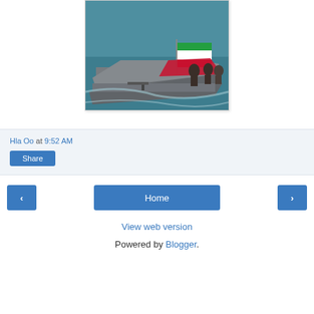[Figure (photo): Iranian military speedboats on water, one flying an Iranian flag, with armed personnel and a mounted gun visible]
Hla Oo at 9:52 AM
Share
‹
Home
›
View web version
Powered by Blogger.